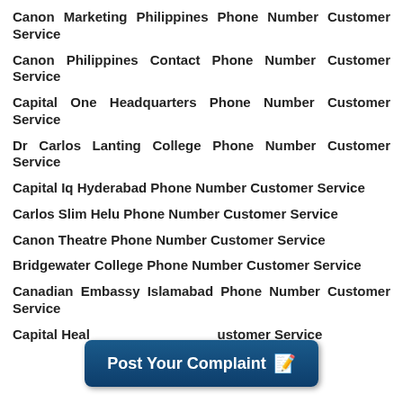Canon Marketing Philippines Phone Number Customer Service
Canon Philippines Contact Phone Number Customer Service
Capital One Headquarters Phone Number Customer Service
Dr Carlos Lanting College Phone Number Customer Service
Capital Iq Hyderabad Phone Number Customer Service
Carlos Slim Helu Phone Number Customer Service
Canon Theatre Phone Number Customer Service
Bridgewater College Phone Number Customer Service
Canadian Embassy Islamabad Phone Number Customer Service
Capital Health Phone Number Customer Service
[Figure (other): Post Your Complaint button banner with pencil/notepad icon]